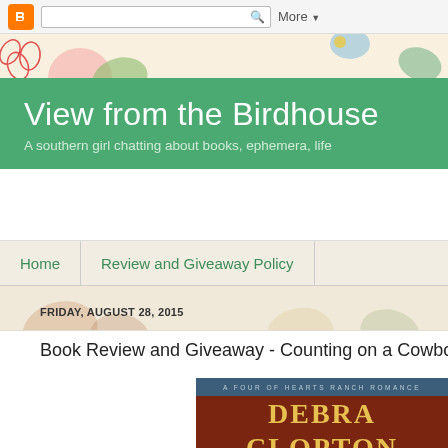[Figure (screenshot): Blogger toolbar with orange Blogger logo, search box, and More dropdown]
[Figure (illustration): Decorative floral background with colorful flowers and leaves in pastel colors]
View from the Birdhouse
A southern girl chatting about books, ephemera, life
Home   Review and Giveaway Policy
FRIDAY, AUGUST 28, 2015
Book Review and Giveaway - Counting on a Cowbo
[Figure (photo): Book cover for Debra Clopton - A Four of Hearts Ranch Romance series, brown/red background with author name in gold letters]